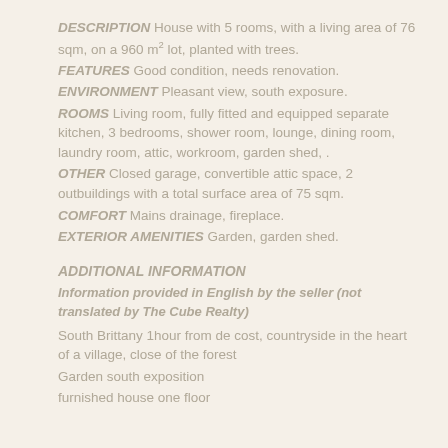DESCRIPTION   House with 5 rooms, with a living area of 76 sqm, on a 960 m² lot, planted with trees.
FEATURES   Good condition, needs renovation.
ENVIRONMENT   Pleasant view, south exposure.
ROOMS   Living room, fully fitted and equipped separate kitchen, 3 bedrooms, shower room, lounge, dining room, laundry room, attic, workroom, garden shed, .
OTHER   Closed garage, convertible attic space, 2 outbuildings with a total surface area of 75 sqm.
COMFORT   Mains drainage, fireplace.
EXTERIOR AMENITIES   Garden, garden shed.
ADDITIONAL INFORMATION
Information provided in English by the seller (not translated by The Cube Realty)
South Brittany 1hour from de cost, countryside in the heart of a village, close of the forest
Garden south exposition
furnished house one floor